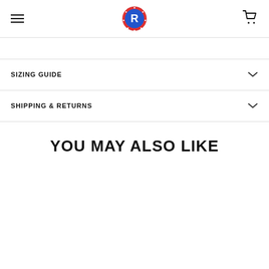R [logo] navigation header with hamburger menu and cart icon
SIZING GUIDE
SHIPPING & RETURNS
YOU MAY ALSO LIKE